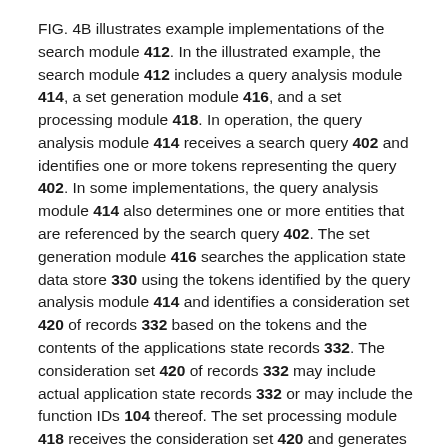FIG. 4B illustrates example implementations of the search module 412. In the illustrated example, the search module 412 includes a query analysis module 414, a set generation module 416, and a set processing module 418. In operation, the query analysis module 414 receives a search query 402 and identifies one or more tokens representing the query 402. In some implementations, the query analysis module 414 also determines one or more entities that are referenced by the search query 402. The set generation module 416 searches the application state data store 330 using the tokens identified by the query analysis module 414 and identifies a consideration set 420 of records 332 based on the tokens and the contents of the applications state records 332. The consideration set 420 of records 332 may include actual application state records 332 or may include the function IDs 104 thereof. The set processing module 418 receives the consideration set 420 and generates search results 460 based thereon. The set processing module 418 scores each of the records 332 in the consideration set 420. The set processing module 418 may utilize the cluster records 362 to identify which clusters 110 the application state records